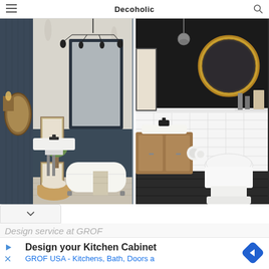Decoholic
[Figure (photo): Left bathroom photo: dark navy blue walls with beadboard wainscoting, pedestal sink with black fixtures, clawfoot bathtub, botanical wallpaper above wainscoting, black chandelier, framed art prints, woven basket with towels on floor]
[Figure (photo): Right bathroom photo: black upper walls with round gold-framed mirror, white subway tile wainscoting, wood vanity cabinet, white pedestal toilet, dark hexagon floor tiles, shelf with decorative items]
Design service at GROF
Design your Kitchen Cabinet
GROF USA - Kitchens, Bath, Doors a